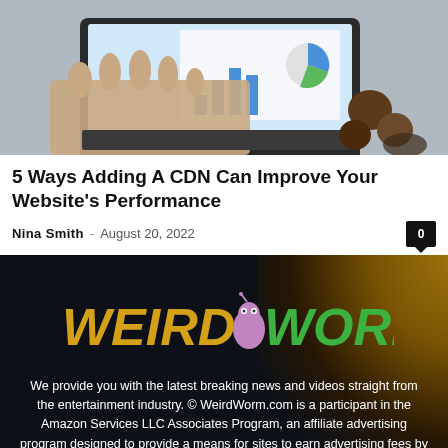[Figure (photo): Person's hands typing on a laptop keyboard, with a chart visible on the laptop screen and cookies/coffee in the background]
5 Ways Adding A CDN Can Improve Your Website's Performance
Nina Smith  -  August 20, 2022
[Figure (logo): WeirdWorm website logo with orange WEIRD text, cartoon worm character, and green WORM text on dark background]
We provide you with the latest breaking news and videos straight from the entertainment industry. © WeirdWorm.com is a participant in the Amazon Services LLC Associates Program, an affiliate advertising program designed to provide a means for sites to earn advertising fees by